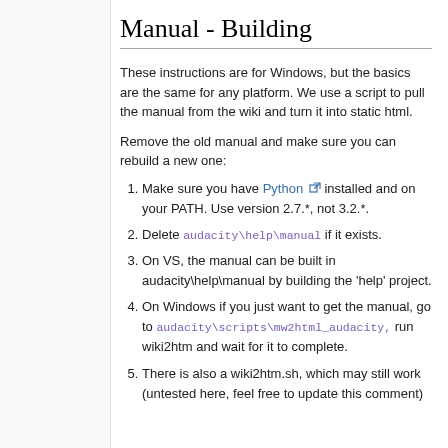Manual - Building
These instructions are for Windows, but the basics are the same for any platform. We use a script to pull the manual from the wiki and turn it into static html.
Remove the old manual and make sure you can rebuild a new one:
1. Make sure you have Python installed and on your PATH. Use version 2.7.*, not 3.2.*.
2. Delete audacity\help\manual if it exists.
3. On VS, the manual can be built in audacity\help\manual by building the 'help' project.
4. On Windows if you just want to get the manual, go to audacity\scripts\mw2html_audacity, run wiki2htm and wait for it to complete.
5. There is also a wiki2htm.sh, which may still work (untested here, feel free to update this comment)